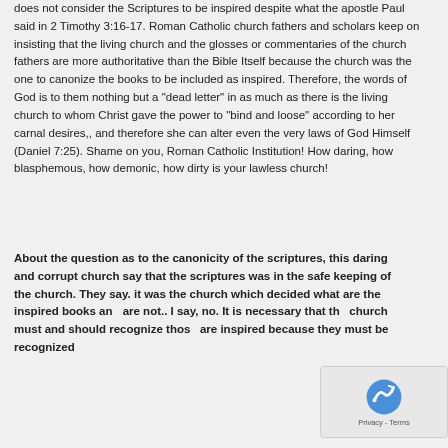does not consider the Scriptures to be inspired despite what the apostle Paul said in 2 Timothy 3:16-17. Roman Catholic church fathers and scholars keep on insisting that the living church and the glosses or commentaries of the church fathers are more authoritative than the Bible Itself because the church was the one to canonize the books to be included as inspired. Therefore, the words of God is to them nothing but a "dead letter" in as much as there is the living church to whom Christ gave the power to "bind and loose" according to her carnal desires,, and therefore she can alter even the very laws of God Himself (Daniel 7:25). Shame on you, Roman Catholic Institution! How daring, how blasphemous, how demonic, how dirty is your lawless church!
About the question as to the canonicity of the scriptures, this daring and corrupt church say that the scriptures was in the safe keeping of the church. They say. it was the church which decided what are the inspired books and are not.. I say, no. It is necessary that the church must and should recognize those are inspired because they must be recognized